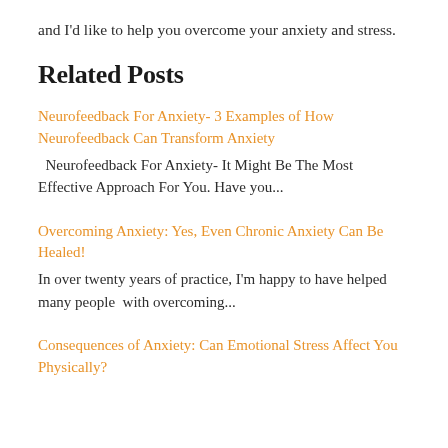and I'd like to help you overcome your anxiety and stress.
Related Posts
Neurofeedback For Anxiety- 3 Examples of How Neurofeedback Can Transform Anxiety
Neurofeedback For Anxiety- It Might Be The Most Effective Approach For You. Have you...
Overcoming Anxiety: Yes, Even Chronic Anxiety Can Be Healed!
In over twenty years of practice, I'm happy to have helped many people  with overcoming...
Consequences of Anxiety: Can Emotional Stress Affect You Physically?